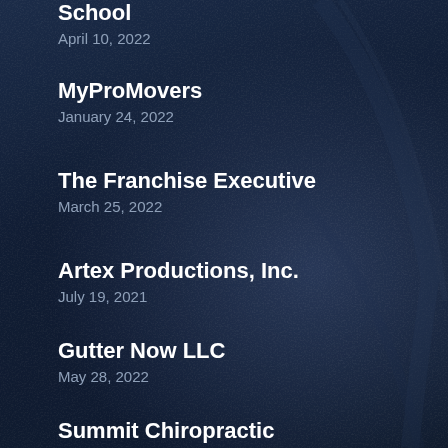School
April 10, 2022
MyProMovers
January 24, 2022
The Franchise Executive
March 25, 2022
Artex Productions, Inc.
July 19, 2021
Gutter Now LLC
May 28, 2022
Summit Chiropractic